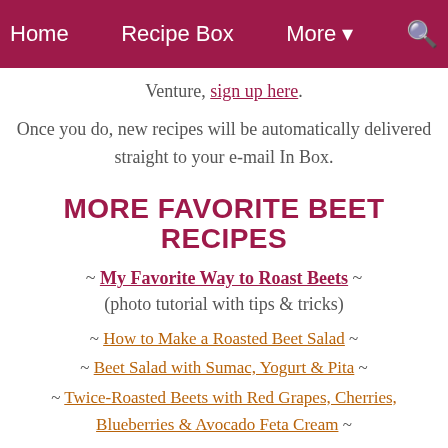Home  Recipe Box  More  [search]
Venture, sign up here.
Once you do, new recipes will be automatically delivered straight to your e-mail In Box.
MORE FAVORITE BEET RECIPES
~ My Favorite Way to Roast Beets ~ (photo tutorial with tips & tricks)
~ How to Make a Roasted Beet Salad ~
~ Beet Salad with Sumac, Yogurt & Pita ~
~ Twice-Roasted Beets with Red Grapes, Cherries, Blueberries & Avocado Feta Cream ~
~ Beet Pesto ~
~ more beet recipes ~
from A Veggie Venture